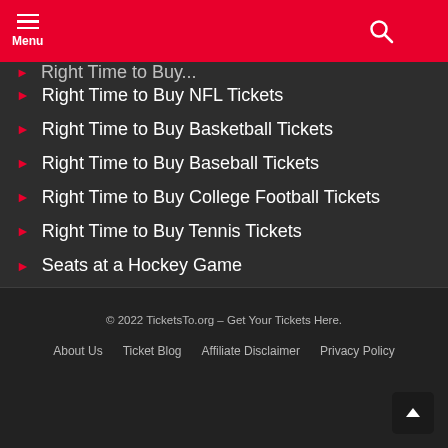Menu
Right Time to Buy NFL Tickets
Right Time to Buy Basketball Tickets
Right Time to Buy Baseball Tickets
Right Time to Buy College Football Tickets
Right Time to Buy Tennis Tickets
Seats at a Hockey Game
Vivid vs Stub vs Geek
17 Tips for Concert Safety
Parking Situations
NFL Football Tickets
MLB Baseball Tickets
NBA Tickets
NHL Tickets
Mobile Tickets
© 2022 TicketsTo.org – Get Your Tickets Here.
About Us   Ticket Blog   Affiliate Disclaimer   Privacy Policy